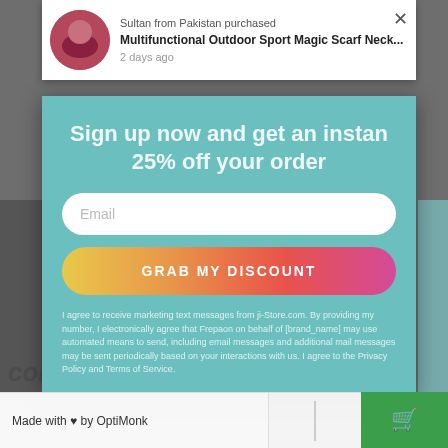[Figure (screenshot): E-commerce website screenshot showing a popup modal overlay. Top notification shows 'Sultan from Pakistan purchased Multifunctional Outdoor Sport Magic Scarf Neck... 2 days ago'. Main teal modal says 'Sign up now and get an instant 25% off your order' with email field, 'GRAB MY DISCOUNT' button, and legal text. Bottom bar shows 'Made with ♥ by OptiMonk' and a green cart button. Partially visible text reads 'complete before:']